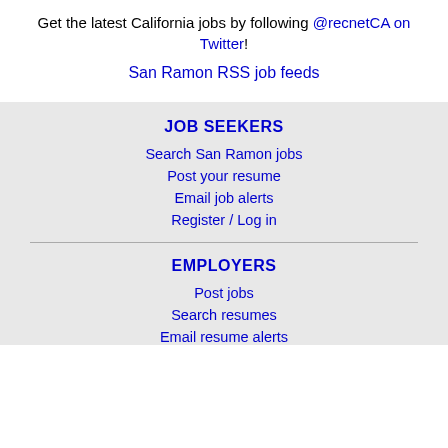Get the latest California jobs by following @recnetCA on Twitter!
San Ramon RSS job feeds
JOB SEEKERS
Search San Ramon jobs
Post your resume
Email job alerts
Register / Log in
EMPLOYERS
Post jobs
Search resumes
Email resume alerts